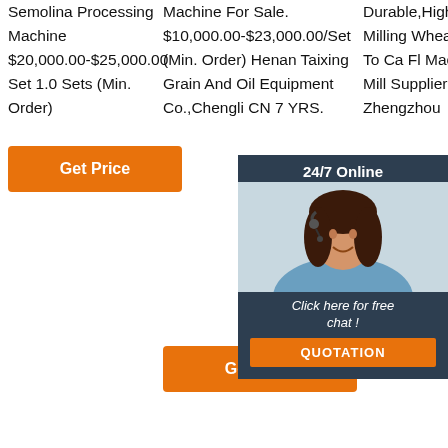Semolina Processing Machine $20,000.00-$25,000.00 Set 1.0 Sets (Min. Order)
Get Price
Machine For Sale. $10,000.00-$23,000.00/Set (Min. Order) Henan Taixing Grain And Oil Equipment Co.,Chengli CN 7 YRS.
Get Price
Durable,High Quality Corn Milling Wheat M Fl M W Pl To Ca Fl Machine from Flour Mill Supplier Manufacturer-Zhengzhou
[Figure (photo): Customer service representative with headset smiling, with 24/7 Online label, Click here for free chat text, and QUOTATION button overlay]